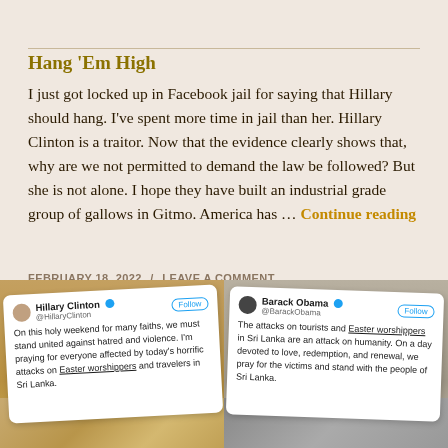Hang ‘Em High
I just got locked up in Facebook jail for saying that Hillary should hang. I’ve spent more time in jail than her. Hillary Clinton is a traitor. Now that the evidence clearly shows that, why are we not permitted to demand the law be followed? But she is not alone. I hope they have built an industrial grade group of gallows in Gitmo. America has … Continue reading
FEBRUARY 18, 2022 / LEAVE A COMMENT
[Figure (screenshot): Screenshot of Hillary Clinton tweet: On this holy weekend for many faiths, we must stand united against hatred and violence. I’m praying for everyone affected by today’s horrific attacks on Easter worshippers and travelers in Sri Lanka.]
[Figure (screenshot): Screenshot of Barack Obama tweet: The attacks on tourists and Easter worshippers in Sri Lanka are an attack on humanity. On a day devoted to love, redemption, and renewal, we pray for the victims and stand with the people of Sri Lanka.]